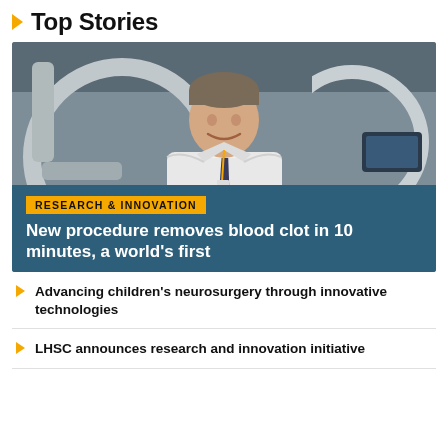Top Stories
[Figure (photo): Doctor in white coat smiling, standing in front of medical imaging equipment in a clinical setting]
RESEARCH & INNOVATION
New procedure removes blood clot in 10 minutes, a world's first
Advancing children's neurosurgery through innovative technologies
LHSC announces research and innovation initiative